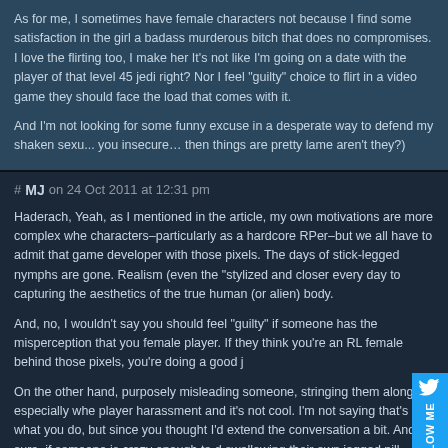As for me, I sometimes have female characters not because I find some satisfaction in the girl a badass murderous bitch that does no compromises. I love the flirting too, I make her It's not like I'm going on a date with the player of that level 45 jedi right? Nor I feel "guilty" choice to flirt in a video game they should face the load that comes with it.
And I'm not looking for some funny excuse in a desperate way to defend my shaken sexu... you insecure… then things are pretty lame aren't they?)
# MJ  on 24 Oct 2011 at 12:31 pm
Haderach, Yeah, as I mentioned in the article, my own motivations are more complex whe characters–particularly as a hardcore RPer–but we all have to admit that game developer with those pixels. The days of stick-legged nymphs are gone. Realism (even the "stylized and closer every day to capturing the aesthetics of the true human (or alien) body.
And, no, I wouldn't say you should feel "guilty" if someone has the misperception that you female player. If they think you're an RL female behind those pixels, you're doing a good j
On the other hand, purposely misleading someone, stringing them along, especially whe player harassment and it's not cool. I'm not saying that's what you do, but since you thought I'd extend the conversation a bit. And, sure, if someone is crazy enough to d swallowing their own jagged pill. Sure, there are some solid long-term RL relationsh no one should expect "magic" to happen, and no one should be using the game bey
If things happen, they happen, and good for you. Otherwise, caveat emptor.